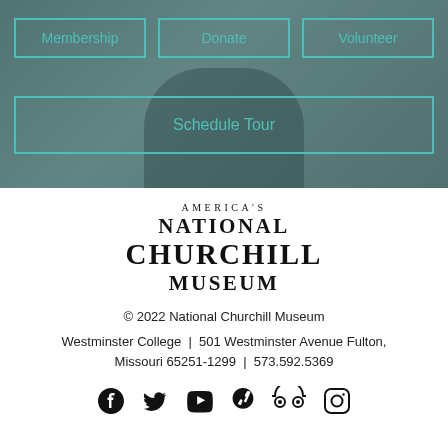[Figure (screenshot): Hero banner with dark teal/grey toned background showing silhouetted figures (historical photo overlay). Contains three button links: Membership, Donate, Volunteer, and a wide Schedule Tour button.]
Membership
Donate
Volunteer
Schedule Tour
[Figure (logo): America's National Churchill Museum logo in serif uppercase text]
© 2022 National Churchill Museum
Westminster College | 501 Westminster Avenue Fulton, Missouri 65251-1299 | 573.592.5369
[Figure (infographic): Social media icons row: Facebook, Twitter, YouTube, Yelp, TripAdvisor, Instagram]